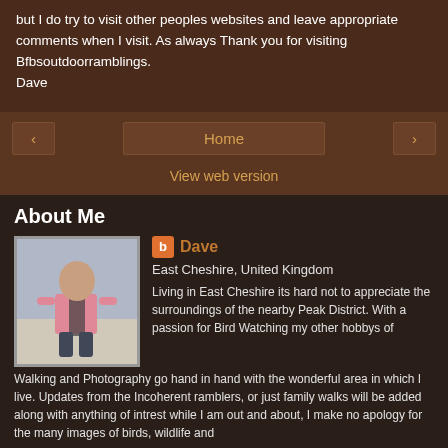but I do try to visit other peoples websites and leave appropriate comments when I visit. As always Thank you for visiting Bfbsoutdoorramblings.
Dave
‹   Home   ›
View web version
About Me
[Figure (photo): Profile photo of Dave, a man standing outdoors wearing a pink shirt with a backpack]
Dave
East Cheshire, United Kingdom
Living in East Cheshire its hard not to appreciate the surroundings of the nearby Peak District. With a passion for Bird Watching my other hobbys of Walking and Photography go hand in hand with the wonderful area in which I live. Updates from the Incoherent ramblers, or just family walks will be added along with anything of intrest while I am out and about, I make no apology for the many images of birds, wildlife and